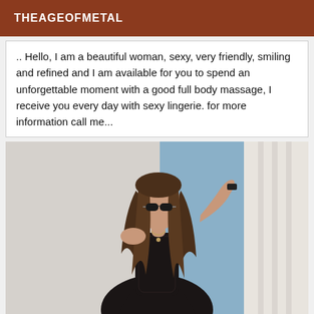THEAGEOFMETAL
.. Hello, I am a beautiful woman, sexy, very friendly, smiling and refined and I am available for you to spend an unforgettable moment with a good full body massage, I receive you every day with sexy lingerie. for more information call me...
[Figure (photo): A woman with long brown hair wearing sunglasses and a black lace outfit, posing indoors near a window with curtains]